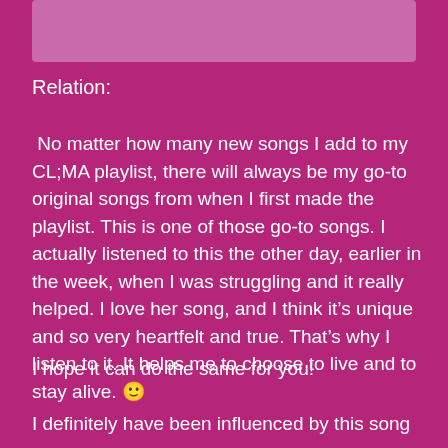[Figure (other): Pinkish-purple rectangle image placeholder at the top of the page]
Relation:
No matter how many new songs I add to my CL;MA playlist, there will always be my go-to original songs from when I first made the playlist. This is one of those go-to songs. I actually listened to this the other day, earlier in the week, when I was struggling and it really helped. I love her song, and I think it's unique and so very heartfelt and true. That's why I listen to it. It helps me to choose to live and to stay alive. 🙂
I hope it can do the same for you!
I definitely have been influenced by this song many a